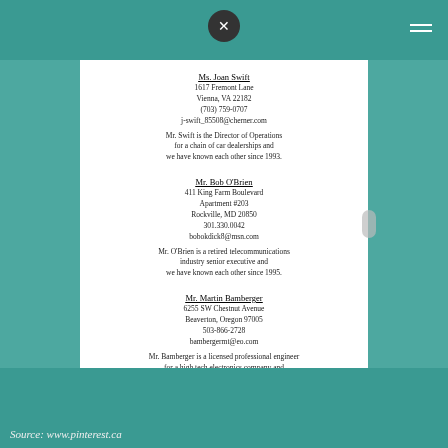Ms. Joan Swift
1617 Fremont Lane
Vienna, VA 22182
(703) 759-0707
j-swift_85508@cherner.com
Mr. Swift is the Director of Operations
for a chain of car dealerships and
we have known each other since 1993.
Mr. Bob O'Brien
411 King Farm Boulevard
Apartment #203
Rockville, MD 20850
301.330.0042
bobokdick8@msn.com
Mr. O'Brien is a retired telecommunications
industry senior executive and
we have known each other since 1995.
Mr. Martin Bamberger
6255 SW Chestnut Avenue
Beaverton, Oregon 97005
503-866-2728
bambergermt@eo.com
Mr. Bamberger is a licensed professional engineer
for a high tech electronics company and
we have known each other since 1983.
Source: www.pinterest.ca